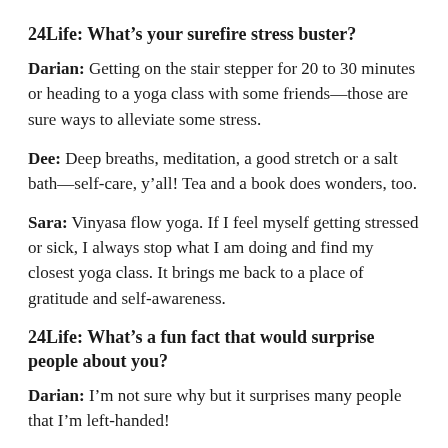24Life: What's your surefire stress buster?
Darian: Getting on the stair stepper for 20 to 30 minutes or heading to a yoga class with some friends—those are sure ways to alleviate some stress.
Dee: Deep breaths, meditation, a good stretch or a salt bath—self-care, y'all! Tea and a book does wonders, too.
Sara: Vinyasa flow yoga. If I feel myself getting stressed or sick, I always stop what I am doing and find my closest yoga class. It brings me back to a place of gratitude and self-awareness.
24Life: What's a fun fact that would surprise people about you?
Darian: I'm not sure why but it surprises many people that I'm left-handed!